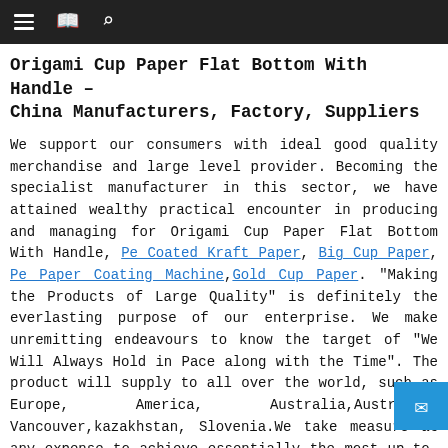Navigation bar with menu, bookmark, and search icons
Origami Cup Paper Flat Bottom With Handle – China Manufacturers, Factory, Suppliers
We support our consumers with ideal good quality merchandise and large level provider. Becoming the specialist manufacturer in this sector, we have attained wealthy practical encounter in producing and managing for Origami Cup Paper Flat Bottom With Handle, Pe Coated Kraft Paper, Big Cup Paper, Pe Paper Coating Machine,Gold Cup Paper. "Making the Products of Large Quality" is definitely the everlasting purpose of our enterprise. We make unremitting endeavours to know the target of "We Will Always Hold in Pace along with the Time". The product will supply to all over the world, such as Europe, America, Australia,Australia, Vancouver,kazakhstan, Slovenia.We take measure at any expense to achieve essentially the most up-to-date equipment and approaches. The packing of nominated brand is our a further distinguishing feature. The items to assure ye trouble-free service has attracted a great deal custo The solutions are obtainable in improved designs an